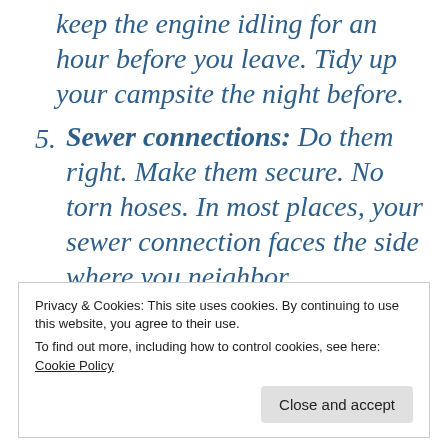keep the engine idling for an hour before you leave. Tidy up your campsite the night before.
5. Sewer connections: Do them right. Make them secure. No torn hoses. In most places, your sewer connection faces the side where you neighbor
Privacy & Cookies: This site uses cookies. By continuing to use this website, you agree to their use.
To find out more, including how to control cookies, see here: Cookie Policy